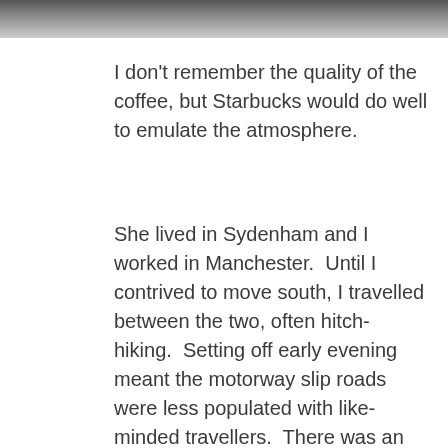[Figure (photo): Partial photograph visible at top of page, black and white or greyscale, cropped]
I don't remember the quality of the coffee, but Starbucks would do well to emulate the atmosphere.
She lived in Sydenham and I worked in Manchester.  Until I contrived to move south, I travelled between the two, often hitch-hiking.  Setting off early evening meant the motorway slip roads were less populated with like-minded travellers.  There was an etiquette loosely based on first come first served, although lone girls and couples were more likely to be singled out by the eagle-eyed driver.  The late departure meant arrival into